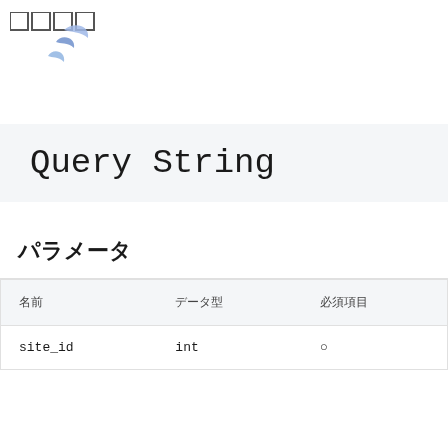[Figure (logo): Logo with square boxes and a feather/leaf SVG icon in blue]
Query String
パラメータ
| 名前 | データ型 | 必須項目 |
| --- | --- | --- |
| site_id | int | ○ |